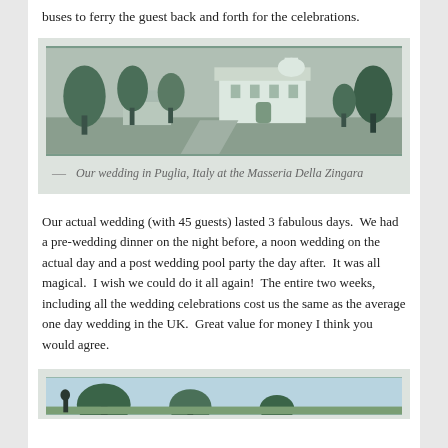buses to ferry the guest back and forth for the celebrations.
[Figure (photo): Black and white / desaturated photo of a white building (Masseria Della Zingara) with trees in Puglia, Italy]
— Our wedding in Puglia, Italy at the Masseria Della Zingara
Our actual wedding (with 45 guests) lasted 3 fabulous days.  We had a pre-wedding dinner on the night before, a noon wedding on the actual day and a post wedding pool party the day after.  It was all magical.  I wish we could do it all again!  The entire two weeks, including all the wedding celebrations cost us the same as the average one day wedding in the UK.  Great value for money I think you would agree.
[Figure (photo): Partial photo of a garden or outdoor landscape, cropped at bottom of page]